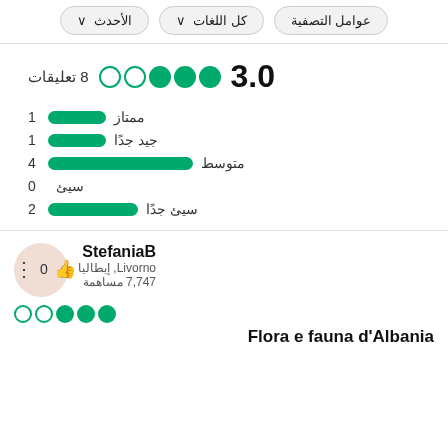عوامل التصفية
كل اللغات ∨
الأحدث ∨
3.0 ●●●○○ 8 تعليقات
ممتاز 1
جيد جدًا 1
متوسط 4
سيئ 0
سيئ جدًا 2
StefaniaB
Livorno, إيطاليا
7,747 مساهمة
0
Flora e fauna d'Albania